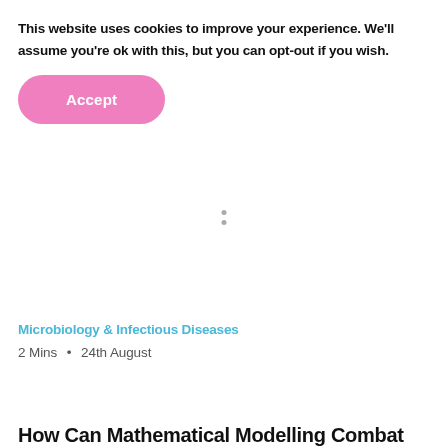This website uses cookies to improve your experience. We'll assume you're ok with this, but you can opt-out if you wish.
[Figure (other): Pink rounded rectangular Accept button]
[Figure (other): Two small grey loading dots]
Microbiology & Infectious Diseases
2 Mins • 24th August
How Can Mathematical Modelling Combat